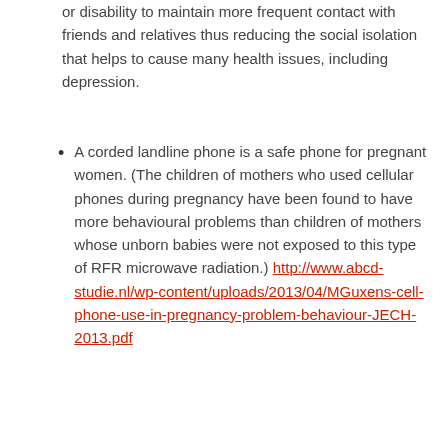or disability to maintain more frequent contact with friends and relatives thus reducing the social isolation that helps to cause many health issues, including depression.
A corded landline phone is a safe phone for pregnant women. (The children of mothers who used cellular phones during pregnancy have been found to have more behavioural problems than children of mothers whose unborn babies were not exposed to this type of RFR microwave radiation.) http://www.abcd-studie.nl/wp-content/uploads/2013/04/MGuxens-cell-phone-use-in-pregnancy-problem-behaviour-JECH-2013.pdf